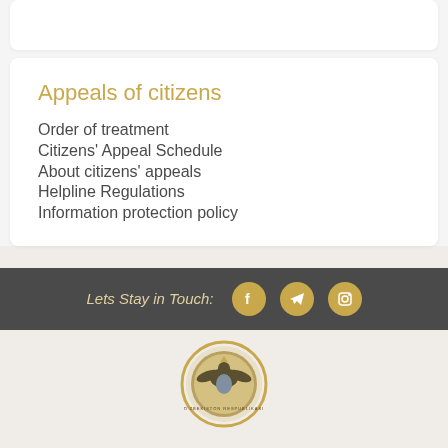Appeals of citizens
Order of treatment
Citizens' Appeal Schedule
About citizens' appeals
Helpline Regulations
Information protection policy
Lets Stay in Touch:
[Figure (logo): Uzbekistan state seal/emblem, circular gold and silver medallion with eagle and text around the border]